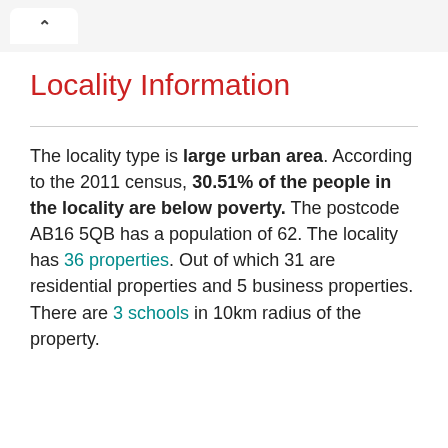Locality Information
The locality type is large urban area. According to the 2011 census, 30.51% of the people in the locality are below poverty. The postcode AB16 5QB has a population of 62. The locality has 36 properties. Out of which 31 are residential properties and 5 business properties. There are 3 schools in 10km radius of the property.